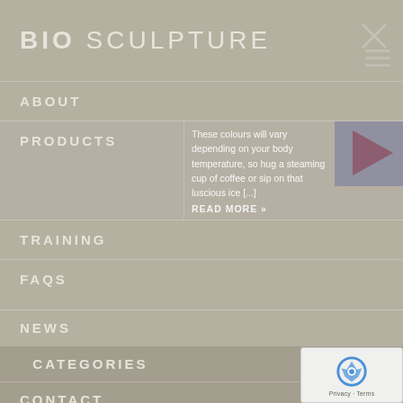BIO SCULPTURE
ABOUT
PRODUCTS
These colours will vary depending on your body temperature, so hug a steaming cup of coffee or sip on that luscious ice [...]
READ MORE »
TRAINING
FAQS
NEWS
CATEGORIES
CONTACT
COLOUR GELS
EVO
NAIL ART
NAILS
SHOWS
[Figure (screenshot): reCAPTCHA widget with logo and Privacy/Terms text]